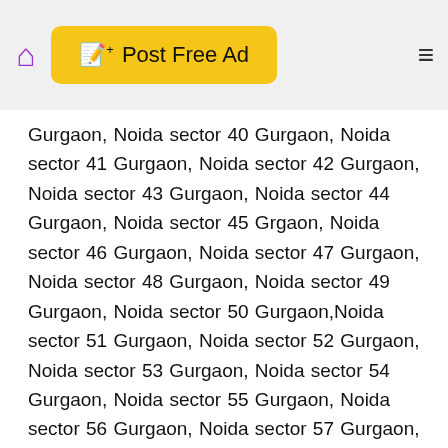Post Free Ad
Gurgaon, Noida sector 40 Gurgaon, Noida sector 41 Gurgaon, Noida sector 42 Gurgaon, Noida sector 43 Gurgaon, Noida sector 44 Gurgaon, Noida sector 45 Grgaon, Noida sector 46 Gurgaon, Noida sector 47 Gurgaon, Noida sector 48 Gurgaon, Noida sector 49 Gurgaon, Noida sector 50 Gurgaon,Noida sector 51 Gurgaon, Noida sector 52 Gurgaon, Noida sector 53 Gurgaon, Noida sector 54 Gurgaon, Noida sector 55 Gurgaon, Noida sector 56 Gurgaon, Noida sector 57 Gurgaon, Noida sector 58 Gurgaon, Noida sector 59 Gurgaon, Noida sector 60 Gurgaon, Noida sector 61 Gurgaon, Noida sector 62,Noida sector 63,Noida sector 64,Noida sector 65, Noida sector 1,Noida sector 2,Noida sector 3,Noida sector 4, Noida sector 5, Noida sector 6, Noida sector 7,